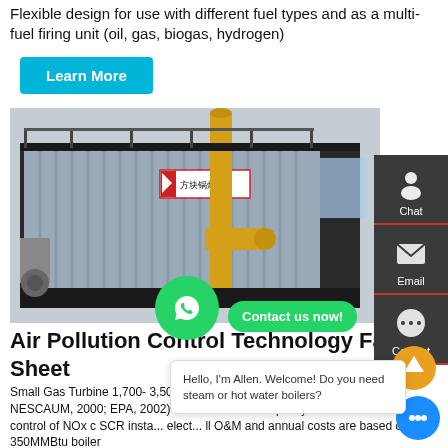Flexible design for use with different fuel types and as a multi-fuel firing unit (oil, gas, biogas, hydrogen)
Learn More
[Figure (photo): Industrial gas boiler unit with yellow pipes and corrugated metal cladding, photographed in a factory setting. Chinese text signage visible on the unit.]
Air Pollution Control Technology Fact Sheet
Small Gas Turbine 1,700- 3,500 150 300 2,000 - 10,000 a (ICAC, 1997; NESCAUM, 2000; EPA, 2002) b Assumes 85% capacity factor and annual control of NOx c SCR insta... elect... ll O&M and annual costs are based on 350MMBtu boiler